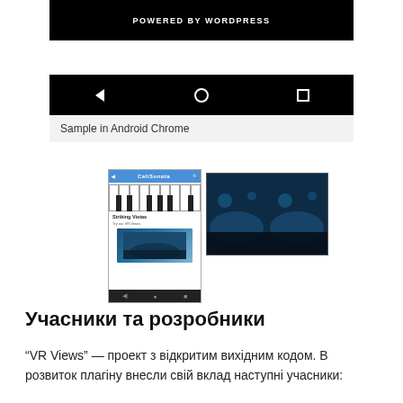[Figure (screenshot): Android Chrome screenshot showing 'POWERED BY WORDPRESS' black header bar, white space, and Android navigation bar (back triangle, home circle, recents square) on black background]
Sample in Android Chrome
[Figure (screenshot): Two thumbnail screenshots: left shows a phone app with piano keyboard image, article title 'Striking Vistas', and VR underwater image; right shows a wide VR panoramic underwater scene split in two panels]
Учасники та розробники
“VR Views” — проект з відкритим вихідним кодом. В розвиток плагіну внесли свій вклад наступні учасники: